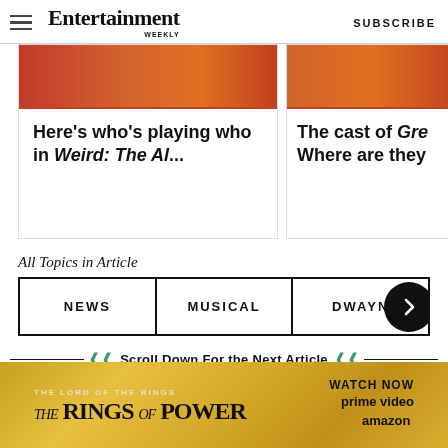Entertainment Weekly — SUBSCRIBE
[Figure (screenshot): Article card showing partial image strip and title: Here's who's playing who in Weird: The Al...]
[Figure (screenshot): Article card showing partial image strip and title: The cast of Gre... Where are they...]
All Topics in Article
NEWS
MUSICAL
DWAYN...
Scroll Down For the Next Article
HOME ... AW...
[Figure (photo): Advertisement for The Lord of the Rings: The Rings of Power on Prime Video — Watch Now]